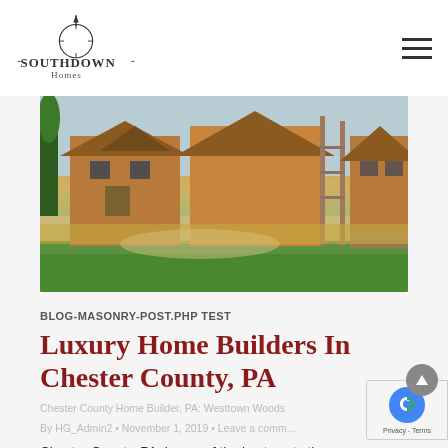Southdown Homes
[Figure (photo): Construction site showing luxury homes being built with wooden framing and scaffolding, surrounded by green grass and open land]
BLOG-MASONRY-POST.PHP TEST
Luxury Home Builders In Chester County, PA
Chester County Home Builder, PA: Westtown Woods
By HG_Admin2 • November 1, 2019 • Leave a comm...
Chester County, PA, is one of the best spots tha... you could imagine for a luxury home. It's a quiet...